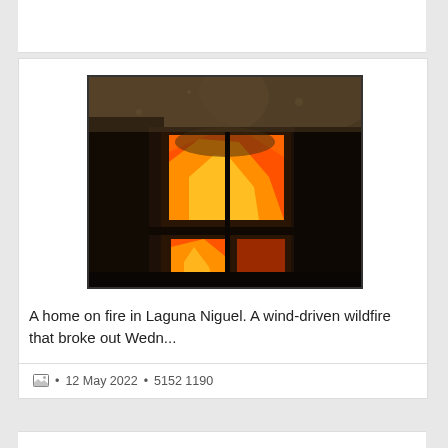[Figure (photo): A burning house in Laguna Niguel with intense orange flames visible through darkened windows, surrounded by heavy smoke]
A home on fire in Laguna Niguel. A wind-driven wildfire that broke out Wedn...
🖼 • 12 May 2022 • 5152 1190